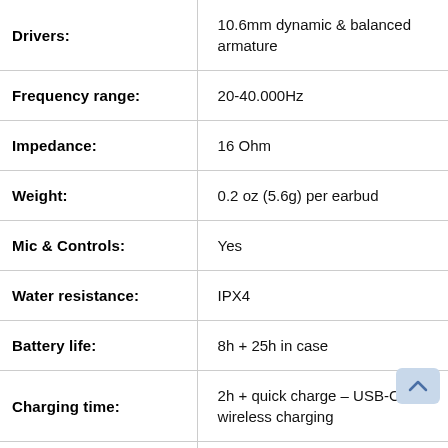| Specification | Value |
| --- | --- |
| Drivers: | 10.6mm dynamic & balanced armature |
| Frequency range: | 20-40.000Hz |
| Impedance: | 16 Ohm |
| Weight: | 0.2 oz (5.6g) per earbud |
| Mic & Controls: | Yes |
| Water resistance: | IPX4 |
| Battery life: | 8h + 25h in case |
| Charging time: | 2h + quick charge – USB-C & Qi wireless charging |
| Active noise |  |